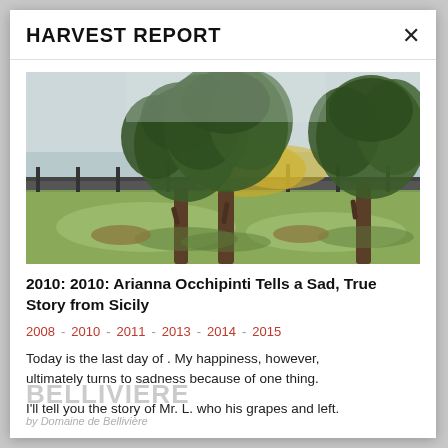HARVEST REPORT
[Figure (photo): Outdoor photograph of three large olive trees with gnarled trunks on a green grassy field, with a fence and yellow foliage visible in the background under a cloudy sky.]
2010: 2010: Arianna Occhipinti Tells a Sad, True Story from Sicily
2008 · 2010 · 2011 · 2013 · 2014 · 2015
Today is the last day of . My happiness, however, ultimately turns to sadness because of one thing.
I'll tell you the story of Mr. L. who his grapes and left.
BELLIVIÈRE
by Domaine de Bellivière